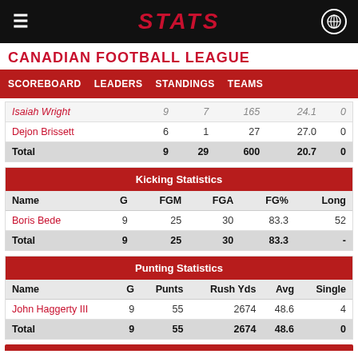STATS
CANADIAN FOOTBALL LEAGUE
SCOREBOARD   LEADERS   STANDINGS   TEAMS
| Name | G |  | Rush Yds | Avg |  |
| --- | --- | --- | --- | --- | --- |
| Isaiah Wright | 9 | 7 | 165 | 24.1 | 0 |
| Dejon Brissett | 6 | 1 | 27 | 27.0 | 0 |
| Total | 9 | 29 | 600 | 20.7 | 0 |
| Name | G | FGM | FGA | FG% | Long |
| --- | --- | --- | --- | --- | --- |
| Boris Bede | 9 | 25 | 30 | 83.3 | 52 |
| Total | 9 | 25 | 30 | 83.3 | - |
| Name | G | Punts | Rush Yds | Avg | Single |
| --- | --- | --- | --- | --- | --- |
| John Haggerty III | 9 | 55 | 2674 | 48.6 | 4 |
| Total | 9 | 55 | 2674 | 48.6 | 0 |